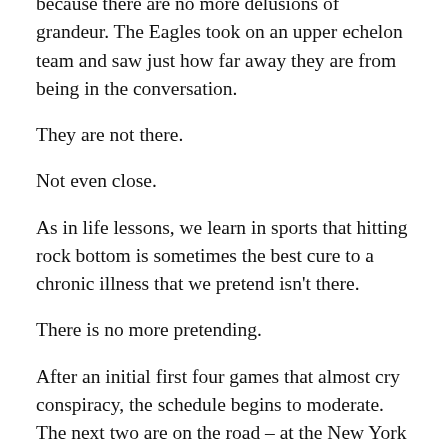because there are no more delusions of grandeur. The Eagles took on an upper echelon team and saw just how far away they are from being in the conversation.
They are not there.
Not even close.
As in life lessons, we learn in sports that hitting rock bottom is sometimes the best cure to a chronic illness that we pretend isn't there.
There is no more pretending.
After an initial first four games that almost cry conspiracy, the schedule begins to moderate. The next two are on the road – at the New York Giants and at Tampa Bay – but both of those teams are winless and struggling even more than the Eagles in terms of getting it together.